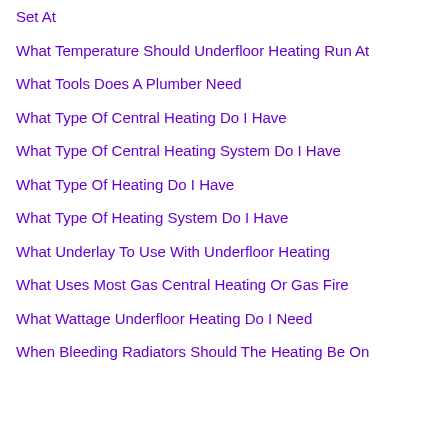Set At
What Temperature Should Underfloor Heating Run At
What Tools Does A Plumber Need
What Type Of Central Heating Do I Have
What Type Of Central Heating System Do I Have
What Type Of Heating Do I Have
What Type Of Heating System Do I Have
What Underlay To Use With Underfloor Heating
What Uses Most Gas Central Heating Or Gas Fire
What Wattage Underfloor Heating Do I Need
When Bleeding Radiators Should The Heating Be On